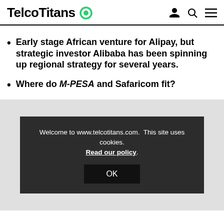TelcoTitans
Early stage African venture for Alipay, but strategic investor Alibaba has been spinning up regional strategy for several years.
Where do M-PESA and Safaricom fit?
[Figure (screenshot): Cookie consent banner on gray background with dark overlay box. Text reads 'Welcome to www.telcotitans.com. This site uses cookies. Read our policy.' with an OK button.]